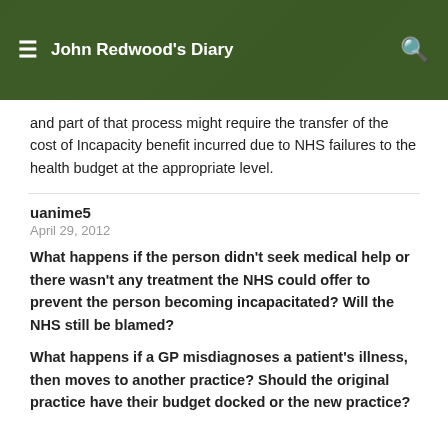John Redwood's Diary
and part of that process might require the transfer of the cost of Incapacity benefit incurred due to NHS failures to the health budget at the appropriate level.
uanime5
April 29, 2012
What happens if the person didn't seek medical help or there wasn't any treatment the NHS could offer to prevent the person becoming incapacitated? Will the NHS still be blamed?
What happens if a GP misdiagnoses a patient's illness, then moves to another practice? Should the original practice have their budget docked or the new practice?